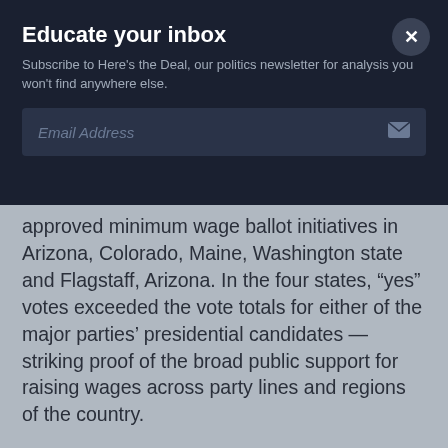Educate your inbox
Subscribe to Here's the Deal, our politics newsletter for analysis you won't find anywhere else.
Email Address
approved minimum wage ballot initiatives in Arizona, Colorado, Maine, Washington state and Flagstaff, Arizona. In the four states, “yes” votes exceeded the vote totals for either of the major parties’ presidential candidates — striking proof of the broad public support for raising wages across party lines and regions of the country.
The Fight for $15’s impact towers over past congressional action because it has been